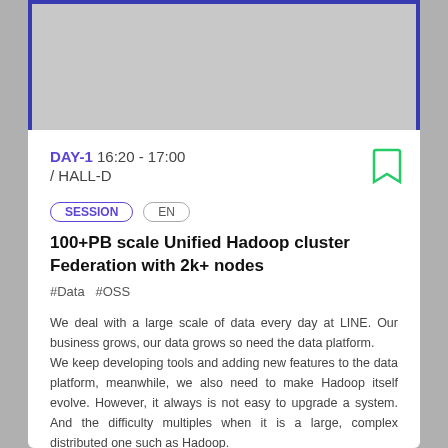[Figure (other): Gray top banner area with blue border on top and sides]
DAY-1 16:20 - 17:00 / HALL-D
SESSION   EN
100+PB scale Unified Hadoop cluster Federation with 2k+ nodes
#Data  #OSS
We deal with a large scale of data every day at LINE. Our business grows, our data grows so need the data platform.
We keep developing tools and adding new features to the data platform, meanwhile, we also need to make Hadoop itself evolve. However, it always is not easy to upgrade a system. And the difficulty multiples when it is a large, complex distributed one such as Hadoop.